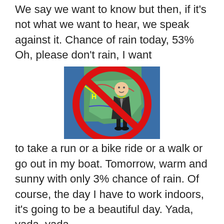We say we want to know but then, if it's not what we want to hear, we speak against it. Chance of rain today, 53% Oh, please don't rain, I want
[Figure (illustration): A weather forecaster in a suit standing in front of a US weather map, overlaid with a large red prohibition/no symbol (circle with diagonal bar through it). The forecaster holds a pointer. The image is a humorous depiction of rejecting weather forecasters.]
to take a run or a bike ride or a walk or go out in my boat. Tomorrow, warm and sunny with only 3% chance of rain. Of course, the day I have to work indoors, it's going to be a beautiful day. Yada, yada, yada.
And if the message is particularly grim, the messenger's credibility is immediately suspect.
Originally, predictors about our world's atmosphere called